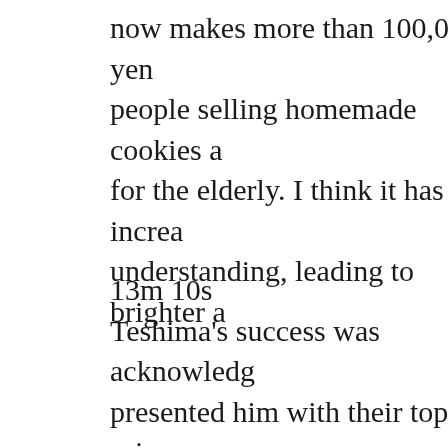now makes more than 100,000 yen people selling homemade cookies a for the elderly. I think it has increa understanding, leading to brighter a
13m 10s
Teshima's success was acknowledg presented him with their top prize. business overseas.